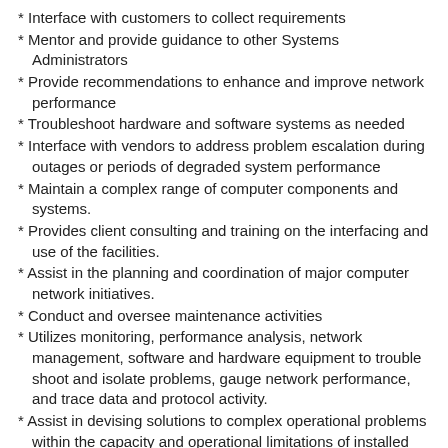* Interface with customers to collect requirements
* Mentor and provide guidance to other Systems Administrators
* Provide recommendations to enhance and improve network performance
* Troubleshoot hardware and software systems as needed
* Interface with vendors to address problem escalation during outages or periods of degraded system performance
* Maintain a complex range of computer components and systems.
* Provides client consulting and training on the interfacing and use of the facilities.
* Assist in the planning and coordination of major computer network initiatives.
* Conduct and oversee maintenance activities
* Utilizes monitoring, performance analysis, network management, software and hardware equipment to trouble shoot and isolate problems, gauge network performance, and trace data and protocol activity.
* Assist in devising solutions to complex operational problems within the capacity and operational limitations of installed equipment.
* For other portions of...